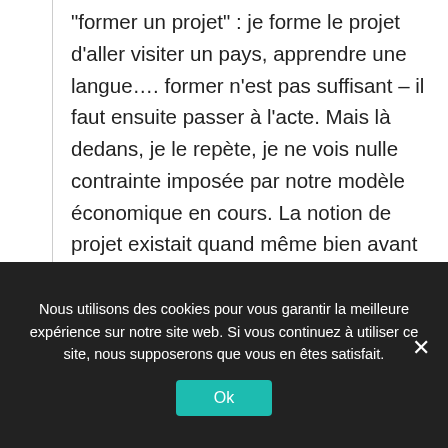“former un projet” : je forme le projet d’aller visiter un pays, apprendre une langue…. former n’est pas suffisant – il faut ensuite passer à l’acte. Mais là dedans, je le repète, je ne vois nulle contrainte imposée par notre modèle économique en cours. La notion de projet existait quand même bien avant Adam Smith et sa
Nous utilisons des cookies pour vous garantir la meilleure expérience sur notre site web. Si vous continuez à utiliser ce site, nous supposerons que vous en êtes satisfait.